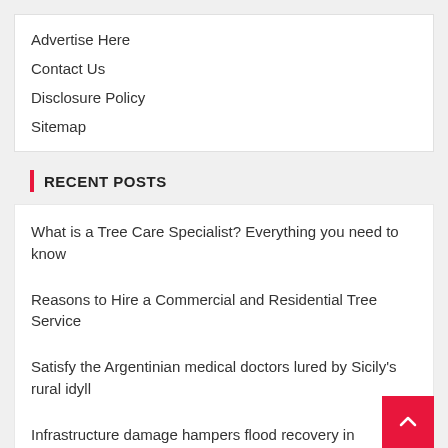Advertise Here
Contact Us
Disclosure Policy
Sitemap
RECENT POSTS
What is a Tree Care Specialist? Everything you need to know
Reasons to Hire a Commercial and Residential Tree Service
Satisfy the Argentinian medical doctors lured by Sicily's rural idyll
Infrastructure damage hampers flood recovery in Kentucky